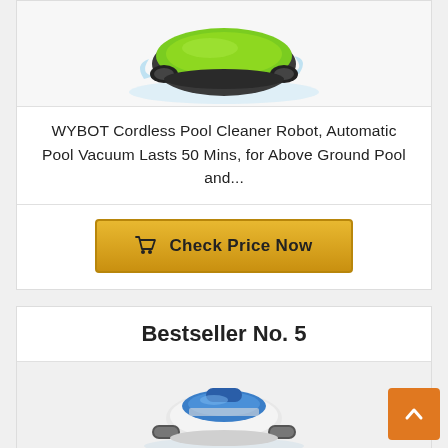[Figure (photo): WYBOT cordless pool cleaner robot shown in green and dark grey color, splashing water, viewed from above and front]
WYBOT Cordless Pool Cleaner Robot, Automatic Pool Vacuum Lasts 50 Mins, for Above Ground Pool and...
Check Price Now
Bestseller No. 5
[Figure (photo): Dolphin Proteus Ultra robotic pool cleaner, white and blue, with tracks, viewed from front angle]